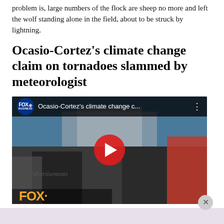problem is, large numbers of the flock are sheep no more and left the wolf standing alone in the field, about to be struck by lightning.
Ocasio-Cortez's climate change claim on tornadoes slammed by meteorologist
[Figure (screenshot): Fox Business YouTube video thumbnail showing Ocasio-Cortez's climate change claim on tornadoes, with a red play button in the center and Fox Business logo in the top-left corner.]
Advertisements